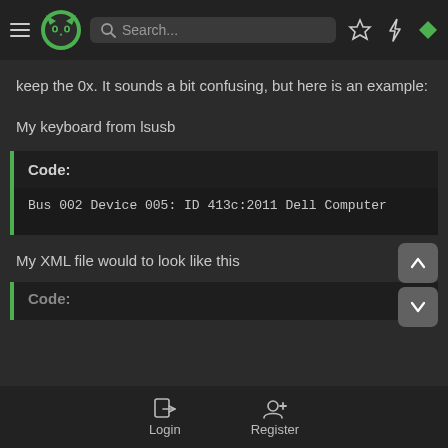Search...
keep the 0x. It sounds a bit confusing, but here is an example:
My keyboard from lsusb
Code:
Bus 002 Device 005: ID 413c:2011 Dell Computer
My XML file would to look like this
Code:
Login   Register